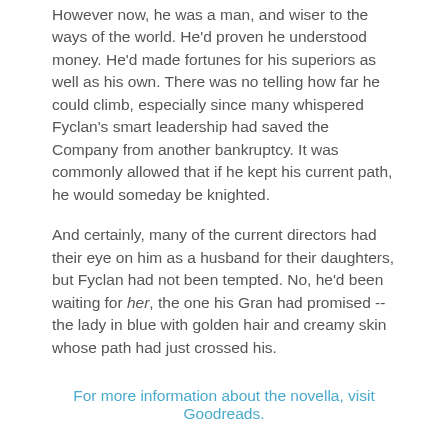However now, he was a man, and wiser to the ways of the world. He'd proven he understood money. He'd made fortunes for his superiors as well as his own. There was no telling how far he could climb, especially since many whispered Fyclan's smart leadership had saved the Company from another bankruptcy. It was commonly allowed that if he kept his current path, he would someday be knighted.
And certainly, many of the current directors had their eye on him as a husband for their daughters, but Fyclan had not been tempted. No, he'd been waiting for her, the one his Gran had promised -- the lady in blue with golden hair and creamy skin whose path had just crossed his.
For more information about the novella, visit Goodreads.
Buy Links:
Amazon
B&N